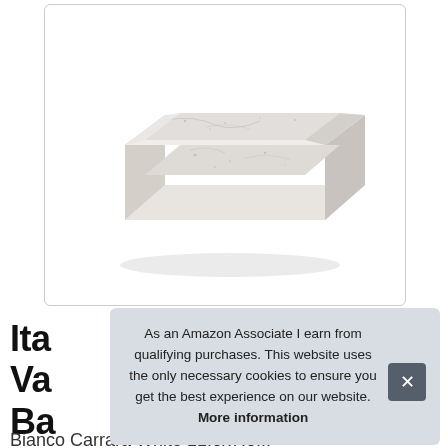[Figure (photo): White Carrara marble rectangular tray with raised edges, photographed from a slightly elevated angle against a white background, inside a rounded-rectangle bordered box.]
Ita
Va
Ba
Bianco Carrara White 11.8x7.8...
As an Amazon Associate I earn from qualifying purchases. This website uses the only necessary cookies to ensure you get the best experience on our website. More information